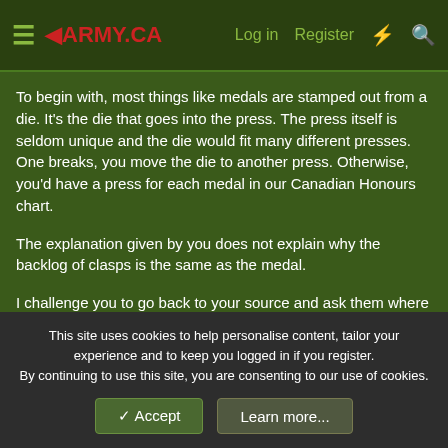≡ ◄ARMY.CA  Log in  Register  ⚡  🔍
To begin with, most things like medals are stamped out from a die. It's the die that goes into the press. The press itself is seldom unique and the die would fit many different presses. One breaks, you move the die to another press. Otherwise, you'd have a press for each medal in our Canadian Honours chart.
The explanation given by you does not explain why the backlog of clasps is the same as the medal.
I challenge you to go back to your source and ask them where they got their info. You'll likely find it's pure conjecture.
There is also a complete discussion thread available on this site as to the reason(s).
This site uses cookies to help personalise content, tailor your experience and to keep you logged in if you register.
By continuing to use this site, you are consenting to our use of cookies.